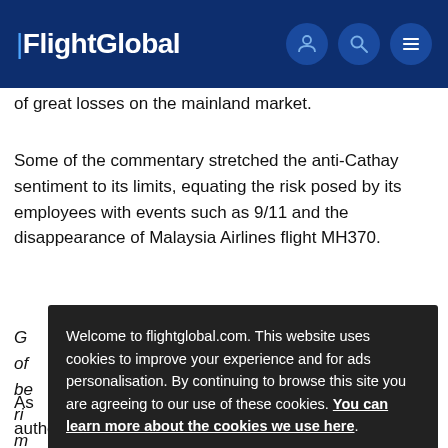FlightGlobal
of great losses on the mainland market.
Some of the commentary stretched the anti-Cathay sentiment to its limits, equating the risk posed by its employees with events such as 9/11 and the disappearance of Malaysia Airlines flight MH370.
G[...] of[...], be[...] ri[...] m[...]
Welcome to flightglobal.com. This website uses cookies to improve your experience and for ads personalisation. By continuing to browse this site you are agreeing to our use of these cookies. You can learn more about the cookies we use here.
As[...] authorities, businesses on the mainland were instructing staff to avoid booking flights with Cathay, according to state-run